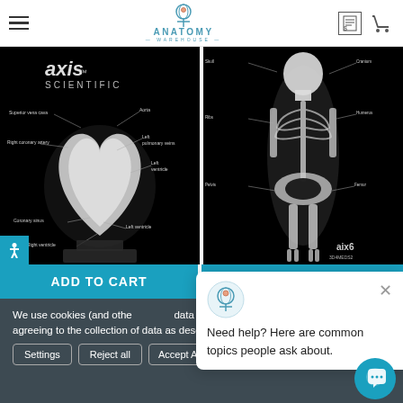Anatomy Warehouse
[Figure (photo): Axis Scientific 3D crystal model of a human heart on black background with anatomical labels]
[Figure (photo): 3D crystal model of a full human skeleton on black background with anatomical labels, branded aix6 3D4MEDS2]
ADD TO CART
We use cookies (and other data to improve your shopping experience. By using this website, you're agreeing to the collection of data as described in our Privacy Policy.
Need help? Here are common topics people ask about.
Settings
Reject all
Accept All Cookies